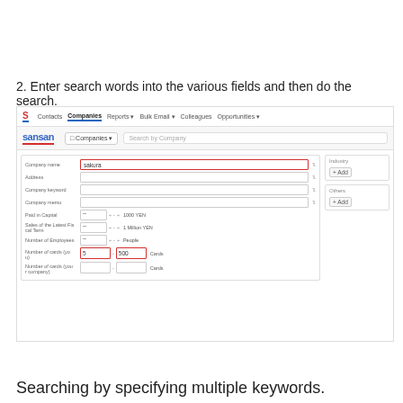2. Enter search words into the various fields and then do the search.
[Figure (screenshot): Screenshot of Sansan Companies search interface showing company name field with 'sakura' entered (highlighted in red), and Number of cards fields with '5' and '500' entered (highlighted in red). Other fields include Address, Company keyword, Company memo, Paid in Capital, Sales of the Latest Fiscal Term, Number of Employees, and Number of cards (your company). Side panel shows Industry and Others sections with +Add buttons.]
Searching by specifying multiple keywords.